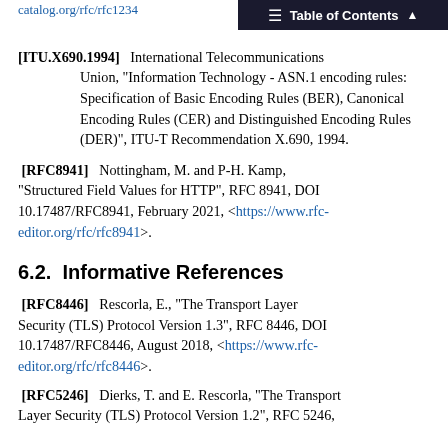Table of Contents
[ITU.X690.1994]  International Telecommunications Union, "Information Technology - ASN.1 encoding rules: Specification of Basic Encoding Rules (BER), Canonical Encoding Rules (CER) and Distinguished Encoding Rules (DER)", ITU-T Recommendation X.690, 1994.
[RFC8941]  Nottingham, M. and P-H. Kamp, "Structured Field Values for HTTP", RFC 8941, DOI 10.17487/RFC8941, February 2021, <https://www.rfc-editor.org/rfc/rfc8941>.
6.2.  Informative References
[RFC8446]  Rescorla, E., "The Transport Layer Security (TLS) Protocol Version 1.3", RFC 8446, DOI 10.17487/RFC8446, August 2018, <https://www.rfc-editor.org/rfc/rfc8446>.
[RFC5246]  Dierks, T. and E. Rescorla, "The Transport Layer Security (TLS) Protocol Version 1.2", RFC 5246,